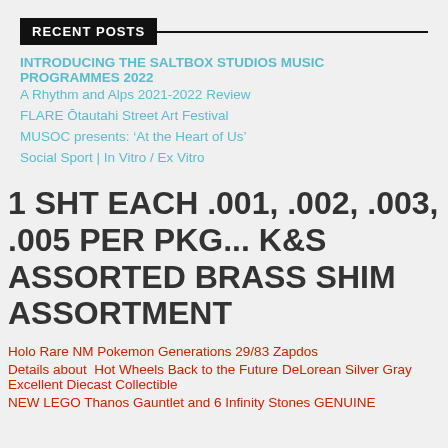RECENT POSTS
INTRODUCING THE SALTBOX STUDIOS MUSIC PROGRAMMES 2022
A Rhythm and Alps 2021-2022 Review
FLARE Ōtautahi Street Art Festival
MUSOC presents: ‘At the Heart of Us’
Social Sport | In Vitro / Ex Vitro
1 SHT EACH .001, .002, .003, .005 PER PKG... K&S ASSORTED BRASS SHIM ASSORTMENT
Holo Rare NM Pokemon Generations 29/83 Zapdos
Details about  Hot Wheels Back to the Future DeLorean Silver Gray Excellent Diecast Collectible
NEW LEGO Thanos Gauntlet and 6 Infinity Stones GENUINE